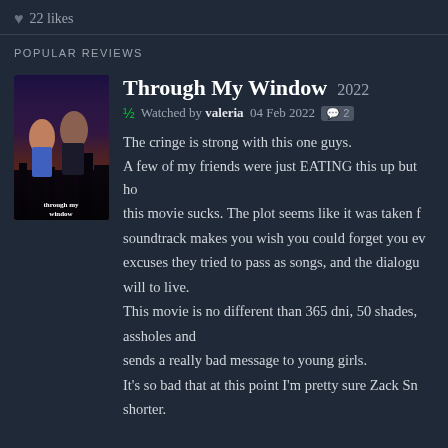♥ 22 likes
POPULAR REVIEWS
[Figure (photo): Movie poster for Through My Window (2022) showing a couple in an embrace against a twilight city backdrop]
Through My Window 2022
½ Watched by valeria 04 Feb 2022 💬 2
The cringe is strong with this one guys. A few of my friends were just EATING this up but ho this movie sucks. The plot seems like it was taken f soundtrack makes you wish you could forget you ev excuses they tried to pass as songs, and the dialogu will to live. This movie is no different than 365 dni, 50 shades, assholes and sends a really bad message to young girls. It's so bad that at this point I'm pretty sure Zack Sn shorter.